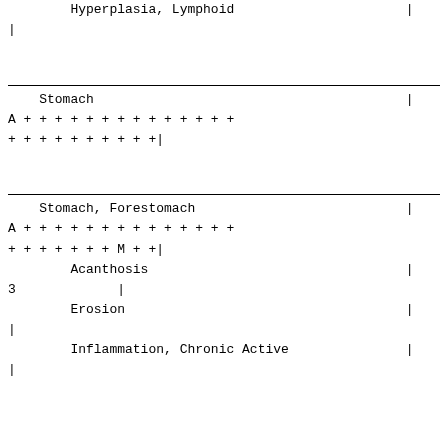|  | Hyperplasia, Lymphoid | | |
| | |  |  |
| Stomach |  | | |
| A | + + + + + + + + + + + + + + | + |
| + + + + + + + + + +| |  |  |
| Stomach, Forestomach |  | | |
| A | + + + + + + + + + + + + + + | + |
| + + + + + + + M + +| |  |  |
|  | Acanthosis | | |
| 3 | | |  |
|  | Erosion | | |
| | |  |  |
|  | Inflammation, Chronic Active | | |
| | |  |  |